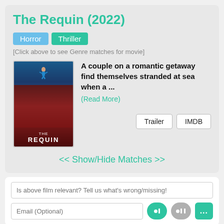The Requin (2022)
Horror  Thriller
[Click above to see Genre matches for movie]
A couple on a romantic getaway find themselves stranded at sea when a ... (Read More)
Trailer  IMDB
<< Show/Hide Matches >>
Is above film relevant? Tell us what's wrong/missing!
Email (Optional)